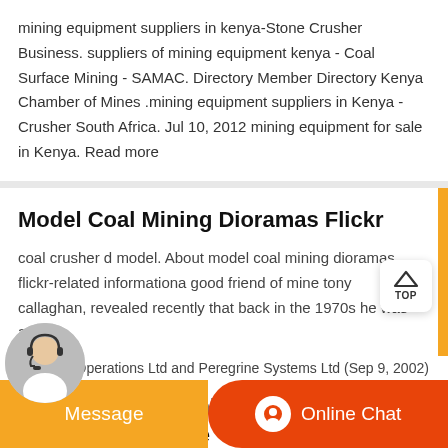mining equipment suppliers in kenya-Stone Crusher Business. suppliers of mining equipment kenya - Coal Surface Mining - SAMAC. Directory Member Directory Kenya Chamber of Mines .mining equipment suppliers in Kenya - Crusher South Africa. Jul 10, 2012 mining equipment for sale in Kenya. Read more
Model Coal Mining Dioramas Flickr
coal crusher d model. About model coal mining dioramas flickr-related informationa good friend of mine tony callaghan, revealed recently that back in the 1970s he was a p4 ...
Mining Sponsorship Agreement Document Sample
Funding Agreements Sample Contracts and Business . Equity Funding Systems Operations Ltd and Peregrine Systems Ltd (Sep 9, 2002)